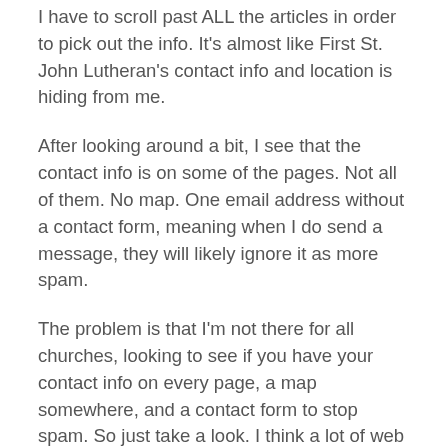I have to scroll past ALL the articles in order to pick out the info. It's almost like First St. John Lutheran's contact info and location is hiding from me.
After looking around a bit, I see that the contact info is on some of the pages. Not all of them. No map. One email address without a contact form, meaning when I do send a message, they will likely ignore it as more spam.
The problem is that I'm not there for all churches, looking to see if you have your contact info on every page, a map somewhere, and a contact form to stop spam. So just take a look. I think a lot of web designers built something and then let it sit there, hoping no one will make any suggestions. That's wrong. When you hire someone to build you a website, make sure you look at it once in a while. If you don't want a Facebook-like blog frontpage, it can